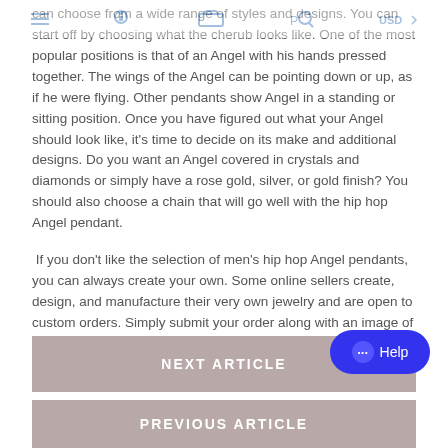can choose from a wide range of styles and designs. You can start off by choosing what the cherub looks like. One of the most popular positions is that of an Angel with his hands pressed together. The wings of the Angel can be pointing down or up, as if he were flying. Other pendants show Angel in a standing or sitting position. Once you have figured out what your Angel should look like, it's time to decide on its make and additional designs. Do you want an Angel covered in crystals and diamonds or simply have a rose gold, silver, or gold finish? You should also choose a chain that will go well with the hip hop Angel pendant.
If you don't like the selection of men's hip hop Angel pendants, you can always create your own. Some online sellers create, design, and manufacture their very own jewelry and are open to custom orders. Simply submit your order along with an image of your hip hop Angel pendant and details.
NEXT ARTICLE
PREVIOUS ARTICLE